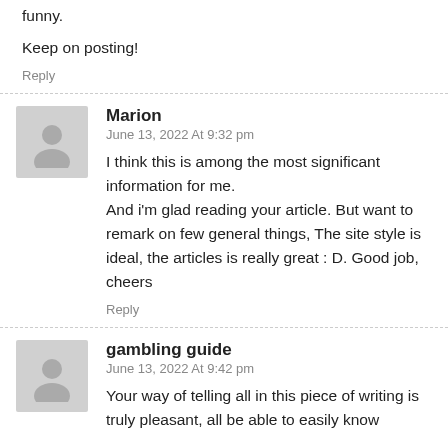funny.
Keep on posting!
Reply
Marion
June 13, 2022 At 9:32 pm
I think this is among the most significant information for me.
And i'm glad reading your article. But want to remark on few general things, The site style is ideal, the articles is really great : D. Good job, cheers
Reply
gambling guide
June 13, 2022 At 9:42 pm
Your way of telling all in this piece of writing is truly pleasant, all be able to easily know